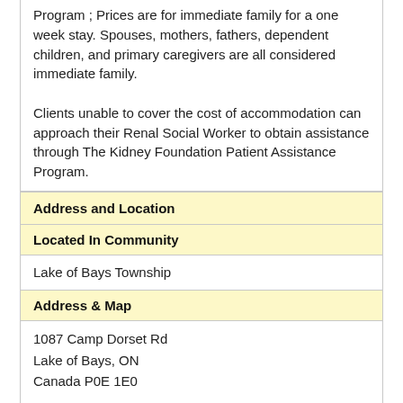Program ; Prices are for immediate family for a one week stay. Spouses, mothers, fathers, dependent children, and primary caregivers are all considered immediate family.

Clients unable to cover the cost of accommodation can approach their Renal Social Worker to obtain assistance through The Kidney Foundation Patient Assistance Program.
Address and Location
Located In Community
Lake of Bays Township
Address & Map
1087 Camp Dorset Rd
Lake of Bays, ON
Canada P0E 1E0

View Google Map
Intersection